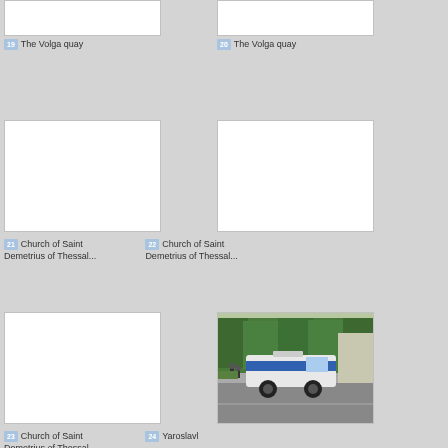[Figure (photo): Blank white thumbnail - The Volga quay]
19 The Volga quay
[Figure (photo): Blank white thumbnail - The Volga quay]
20 The Volga quay
[Figure (photo): Blank white thumbnail - Church of Saint Demetrius of Thessal...]
21 Church of Saint Demetrius of Thessal...
[Figure (photo): Blank white thumbnail - Church of Saint Demetrius of Thessal...]
22 Church of Saint Demetrius of Thessal...
[Figure (photo): Blank white thumbnail - Church of Saint Demetrius of Thessal...]
23 Church of Saint Demetrius of Thessal...
[Figure (photo): Photo of a police vehicle (blue and white SUV) on a road in Yaroslavl, with trees in background]
24 Yaroslavl